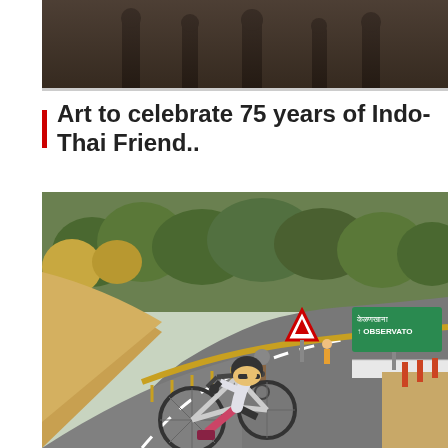[Figure (photo): Top portion of a photograph showing people standing indoors, partially cropped]
Art to celebrate 75 years of Indo-Thai Friend..
[Figure (photo): A cyclist in helmet and cycling gear riding a mountain bike on a winding road through forested hills. In the background, another cyclist and pedestrian are visible. A green directional sign reads 'OBSERVATO' (Observatory) and a triangular warning road sign is visible on the right side of the road.]